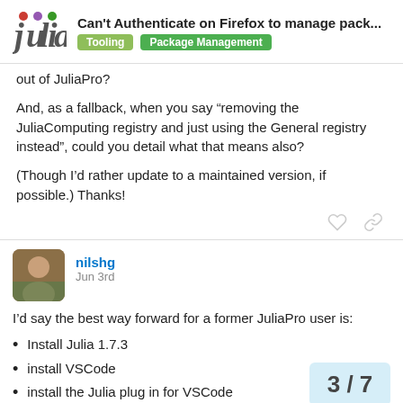Can't Authenticate on Firefox to manage pack... | Tooling | Package Management
out of JuliaPro?
And, as a fallback, when you say “removing the JuliaComputing registry and just using the General registry instead”, could you detail what that means also?
(Though I’d rather update to a maintained version, if possible.) Thanks!
nilshg Jun 3rd
I’d say the best way forward for a former JuliaPro user is:
Install Julia 1.7.3
install VSCode
install the Julia plug in for VSCode